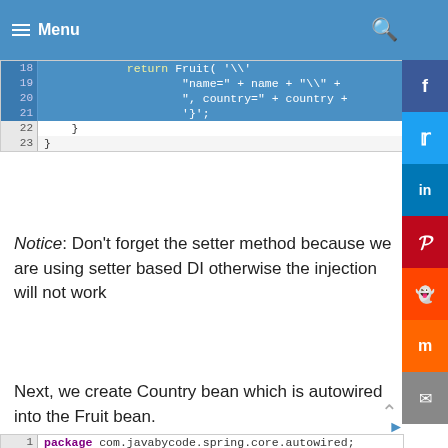[Figure (screenshot): Code snippet lines 18-23 showing Fruit class return statement with name and country concatenation]
Notice: Don't forget the setter method because we are using setter based DI otherwise the injection will not work
Next, we create Country bean which is autowired into the Fruit bean.
[Figure (screenshot): Java code snippet showing Country class with package declaration, class definition, private String name field, setName method, @Override, and public String toString() method]